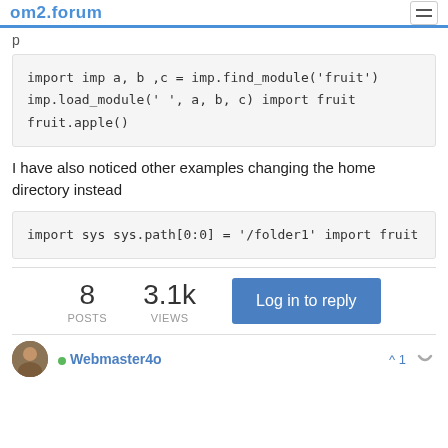om2.forum
p
import imp
a, b ,c = imp.find_module('fruit')
imp.load_module(' ', a, b, c)
import fruit
fruit.apple()
I have also noticed other examples changing the home directory instead
import sys
sys.path[0:0] = '/folder1'
import fruit
8 POSTS  3.1k VIEWS  Log in to reply
Webmaster4o  ^1